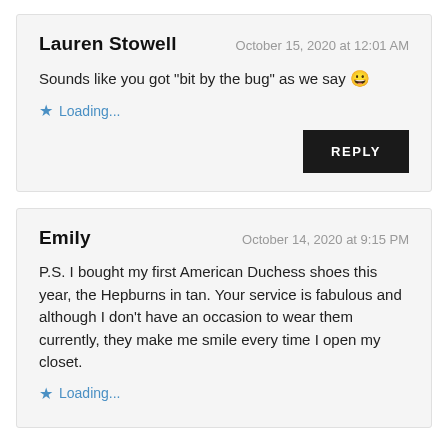Lauren Stowell
October 15, 2020 at 12:01 AM
Sounds like you got "bit by the bug" as we say 😀
★ Loading...
REPLY
Emily
October 14, 2020 at 9:15 PM
P.S. I bought my first American Duchess shoes this year, the Hepburns in tan. Your service is fabulous and although I don't have an occasion to wear them currently, they make me smile every time I open my closet.
★ Loading...